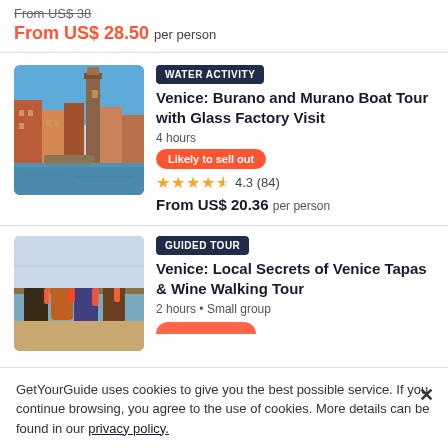From US$ 38 (strikethrough)
From US$ 28.50 per person
[Figure (photo): Venice canal with colorful buildings and a bell tower]
WATER ACTIVITY
Venice: Burano and Murano Boat Tour with Glass Factory Visit
4 hours
Likely to sell out
4.3 (84)
From US$ 20.36 per person
[Figure (photo): Group of friends toasting drinks outdoors by water]
GUIDED TOUR
Venice: Local Secrets of Venice Tapas & Wine Walking Tour
2 hours • Small group
GetYourGuide uses cookies to give you the best possible service. If you continue browsing, you agree to the use of cookies. More details can be found in our privacy policy.